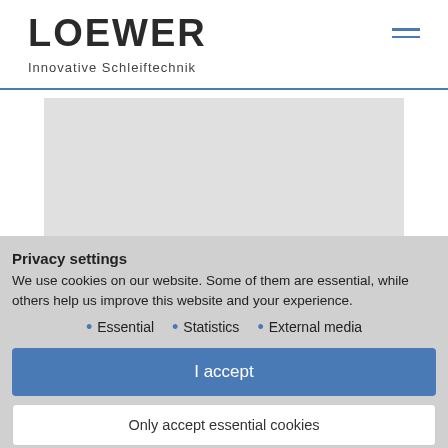LOEWER Innovative Schleiftechnik
[Figure (other): Gray placeholder background image area]
Privacy settings
We use cookies on our website. Some of them are essential, while others help us improve this website and your experience.
Essential
Statistics
External media
I accept
Only accept essential cookies
Individual privacy settings
Cookie details